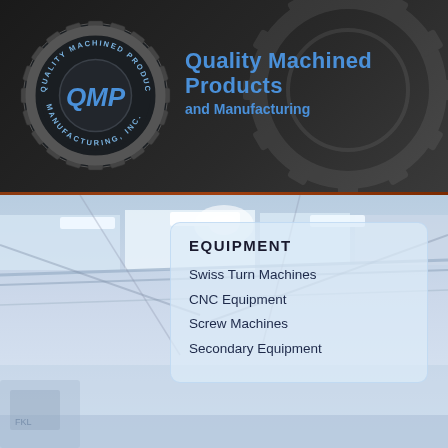[Figure (logo): QMP gear logo with text 'QUALITY MACHINED PRODUCTS AND MANUFACTURING, INC.' around a gear with QMP lettering in the center, on dark background]
Quality Machined Products and Manufacturing
[Figure (photo): Interior of a manufacturing facility showing ceiling, lighting, pipes, and equipment in a light blue-grey tone]
EQUIPMENT
Swiss Turn Machines
CNC Equipment
Screw Machines
Secondary Equipment